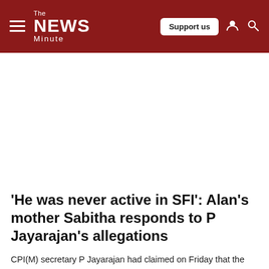The News Minute
'He was never active in SFI': Alan's mother Sabitha responds to P Jayarajan's allegations
CPI(M) secretary P Jayarajan had claimed on Friday that the law students facing UAPA charges were SFI members who were...